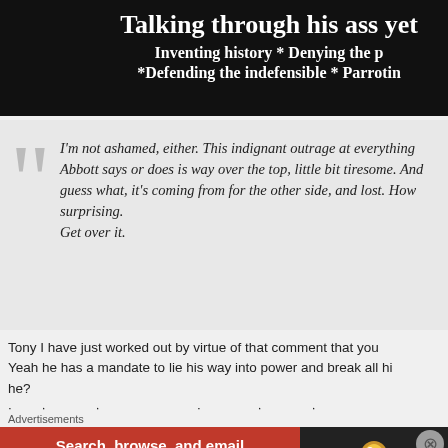[Figure (screenshot): Dark header image with white bold text overlay: 'Talking through his ass yet', 'Inventing history * Denying the p', '*Defending the indefensible * Parrotin']
I’m not ashamed, either. This indignant outrage at everything Abbott says or does is way over the top, little bit tiresome. And guess what, it’s coming from for the other side, and lost. How surprising. Get over it.
Tony I have just worked out by virtue of that comment that you
Yeah he has a mandate to lie his way into power and break all hi he?
Advertisements
[Figure (screenshot): DuckDuckGo advertisement banner: 'Search, browse, and email with more privacy. All in One Free App' on orange background with DuckDuckGo duck logo on dark background]